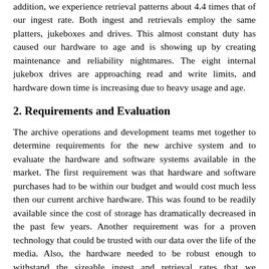addition, we experience retrieval patterns about 4.4 times that of our ingest rate. Both ingest and retrievals employ the same platters, jukeboxes and drives. This almost constant duty has caused our hardware to age and is showing up by creating maintenance and reliability nightmares. The eight internal jukebox drives are approaching read and write limits, and hardware down time is increasing due to heavy usage and age.
2. Requirements and Evaluation
The archive operations and development teams met together to determine requirements for the new archive system and to evaluate the hardware and software systems available in the market. The first requirement was that hardware and software purchases had to be within our budget and would cost much less then our current archive hardware. This was found to be readily available since the cost of storage has dramatically decreased in the past few years. Another requirement was for a proven technology that could be trusted with our data over the life of the media. Also, the hardware needed to be robust enough to withstand the sizeable ingest and retrieval rates that we experience now and the increase we expect to incur over the next few years. Lastly, the requirement was to purchase as much of-the-shelf software as possible, in order to eliminate costly, specialty software either written for or by us.
To evaluate systems available, we first met to determine the archive...